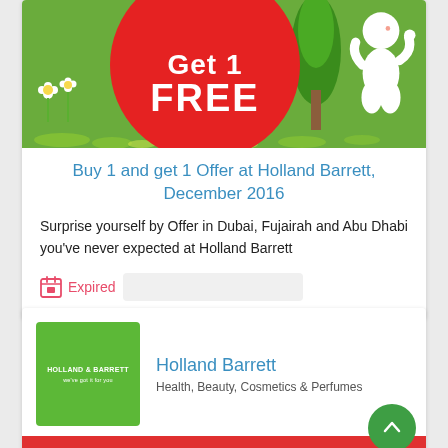[Figure (illustration): Promotional banner showing a red circle with 'Get 1 FREE' text on a green background with cartoon character and flowers]
Buy 1 and get 1 Offer at Holland Barrett, December 2016
Surprise yourself by Offer in Dubai, Fujairah and Abu Dhabi you've never expected at Holland Barrett
Expired
[Figure (logo): Holland Barrett green logo box]
Holland Barrett
Health, Beauty, Cosmetics & Perfumes
[Figure (illustration): Red promotional banner saying 'on selected times' with terms and conditions text, and a partial storefront illustration below]